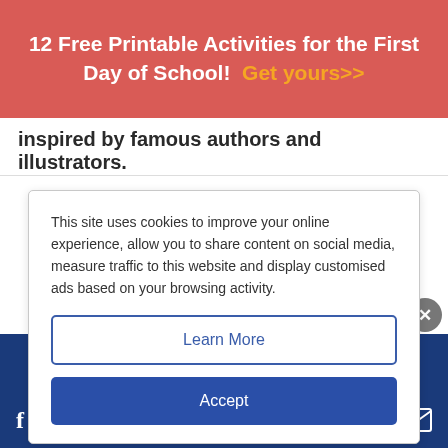12 Free Printable Activities for the First Day of School! Get yours>>
inspired by famous authors and illustrators.
This site uses cookies to improve your online experience, allow you to share content on social media, measure traffic to this website and display customised ads based on your browsing activity.
Learn More
Accept
videos, activities, podcasts, and more virtual author activities to engage kids of a variety of
< See More Learning at Home Resources
[Figure (screenshot): Disney Bundle advertisement banner showing Hulu, Disney+, ESPN+ logos with GET THE DISNEY BUNDLE call to action]